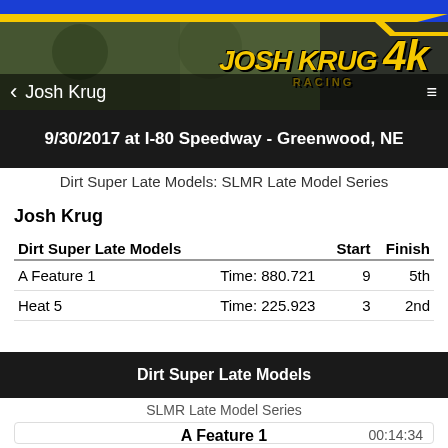[Figure (photo): Josh Krug Racing header banner with photo of racers, blue and yellow design elements, and Josh Krug Racing logo in yellow stylized text with number 4k]
Josh Krug
9/30/2017 at I-80 Speedway - Greenwood, NE
Dirt Super Late Models: SLMR Late Model Series
Josh Krug
| Dirt Super Late Models |  | Start | Finish |
| --- | --- | --- | --- |
| A Feature 1 | Time: 880.721 | 9 | 5th |
| Heat 5 | Time: 225.923 | 3 | 2nd |
Dirt Super Late Models
SLMR Late Model Series
00:14:34
A Feature 1